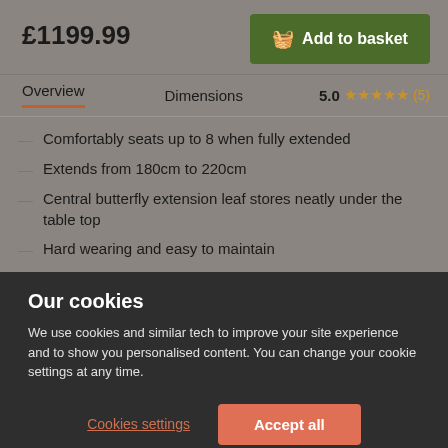£1199.99
Add to basket
Overview   Dimensions   5.0 ★★★★★ (5)
Comfortably seats up to 8 when fully extended
Extends from 180cm to 220cm
Central butterfly extension leaf stores neatly under the table top
Hard wearing and easy to maintain
Our cookies
We use cookies and similar tech to improve your site experience and to show you personalised content. You can change your cookie settings at any time.
Cookies settings
Accept all